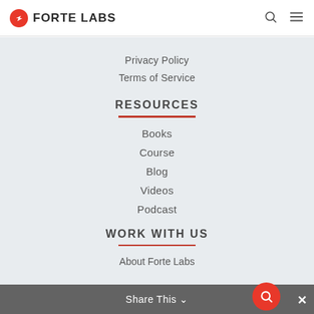FORTE LABS
Privacy Policy
Terms of Service
RESOURCES
Books
Course
Blog
Videos
Podcast
WORK WITH US
About Forte Labs